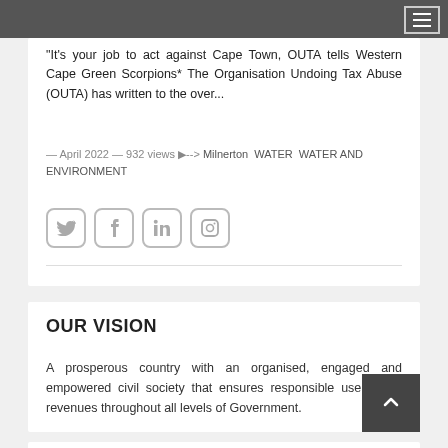Navigation menu header bar
"It's your job to act against Cape Town, OUTA tells Western Cape Green Scorpions*  The Organisation Undoing Tax Abuse (OUTA) has written to the over...
— April 2022 — 932 views --> Milnerton  WATER  WATER AND ENVIRONMENT
[Figure (other): Social media icons: Twitter, Facebook, LinkedIn, Instagram]
OUR VISION
A prosperous country with an organised, engaged and empowered civil society that ensures responsible use of tax revenues throughout all levels of Government.